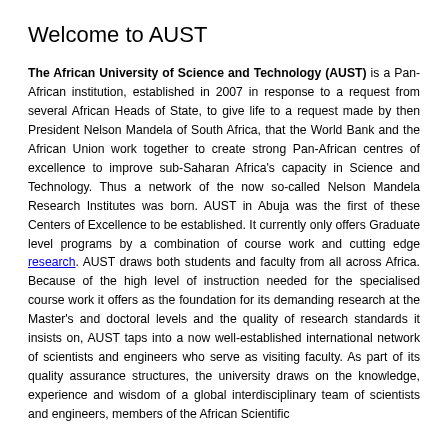Welcome to AUST
The African University of Science and Technology (AUST) is a Pan-African institution, established in 2007 in response to a request from several African Heads of State, to give life to a request made by then President Nelson Mandela of South Africa, that the World Bank and the African Union work together to create strong Pan-African centres of excellence to improve sub-Saharan Africa's capacity in Science and Technology. Thus a network of the now so-called Nelson Mandela Research Institutes was born. AUST in Abuja was the first of these Centers of Excellence to be established. It currently only offers Graduate level programs by a combination of course work and cutting edge research. AUST draws both students and faculty from all across Africa. Because of the high level of instruction needed for the specialised course work it offers as the foundation for its demanding research at the Master's and doctoral levels and the quality of research standards it insists on, AUST taps into a now well-established international network of scientists and engineers who serve as visiting faculty. As part of its quality assurance structures, the university draws on the knowledge, experience and wisdom of a global interdisciplinary team of scientists and engineers, members of the African Scientific